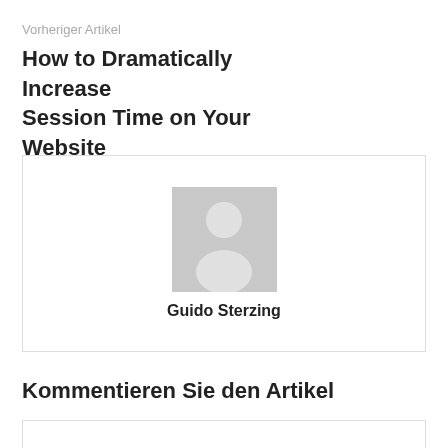Vorheriger Artikel
How to Dramatically Increase Session Time on Your Website
[Figure (photo): Author avatar placeholder image showing a grey silhouette of a person on a grey background, with the name Guido Sterzing below]
Kommentieren Sie den Artikel